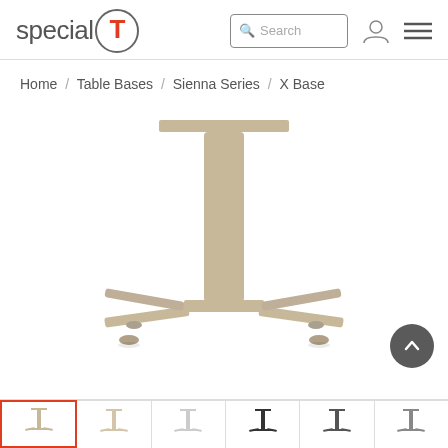special T — Search bar, user icon, menu icon
Home / Table Bases / Sienna Series / X Base
[Figure (photo): Product photo of a table base (X Base, Sienna Series) in a champagne/tan finish, showing an X-shaped four-leg base with a central cylindrical column and flat top plate, on a white background.]
[Figure (photo): Thumbnail strip showing 6 color/style variants of the X Base table base product.]